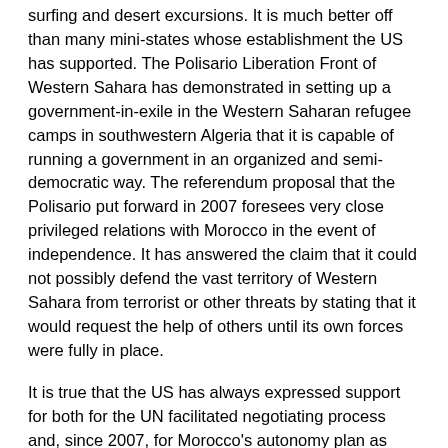surfing and desert excursions. It is much better off than many mini-states whose establishment the US has supported. The Polisario Liberation Front of Western Sahara has demonstrated in setting up a government-in-exile in the Western Saharan refugee camps in southwestern Algeria that it is capable of running a government in an organized and semi-democratic way. The referendum proposal that the Polisario put forward in 2007 foresees very close privileged relations with Morocco in the event of independence. It has answered the claim that it could not possibly defend the vast territory of Western Sahara from terrorist or other threats by stating that it would request the help of others until its own forces were fully in place.
It is true that the US has always expressed support for both for the UN facilitated negotiating process and, since 2007, for Morocco's autonomy plan as ONE possible basis for negotiation. The word ONE is crucial because it implies that other outcomes might emerge and thus ensures that the Polisario stays in the negotiating process instead of retreating into a resumption of the open warfare that prevailed from 1976 to 1991. It was in that year that Morocco and the Polisario agreed to a UN settlement plan that promised